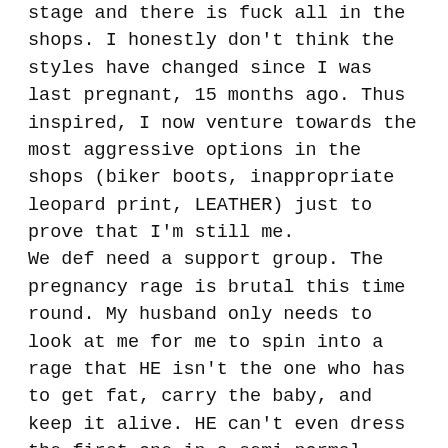stage and there is fuck all in the shops. I honestly don't think the styles have changed since I was last pregnant, 15 months ago. Thus inspired, I now venture towards the most aggressive options in the shops (biker boots, inappropriate leopard print, LEATHER) just to prove that I'm still me. We def need a support group. The pregnancy rage is brutal this time round. My husband only needs to look at me for me to spin into a rage that HE isn't the one who has to get fat, carry the baby, and keep it alive. HE can't even dress the first one in a semi-normal outfit, but instead expects me to lay out the baby's clothes the night before so the baby doesn't look like a mental patient. Anyway, I digress...